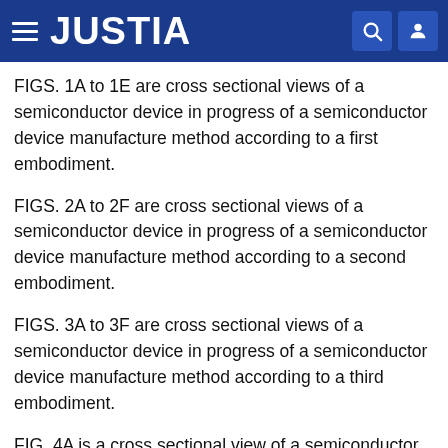JUSTIA
FIGS. 1A to 1E are cross sectional views of a semiconductor device in progress of a semiconductor device manufacture method according to a first embodiment.
FIGS. 2A to 2F are cross sectional views of a semiconductor device in progress of a semiconductor device manufacture method according to a second embodiment.
FIGS. 3A to 3F are cross sectional views of a semiconductor device in progress of a semiconductor device manufacture method according to a third embodiment.
FIG. 4A is a cross sectional view of a semiconductor device in progress of a semiconductor device manufacture method according to a